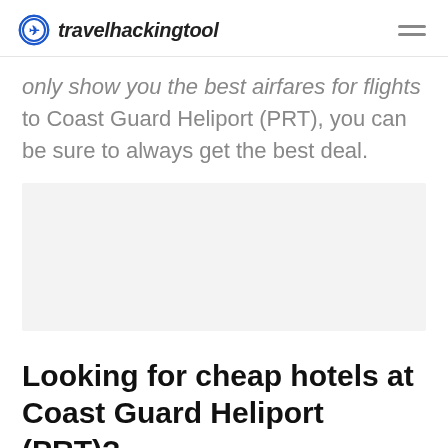travelhackingtool
only show you the best airfares for flights to Coast Guard Heliport (PRT), you can be sure to always get the best deal.
[Figure (other): Gray advertisement placeholder block]
Looking for cheap hotels at Coast Guard Heliport (PRT)?